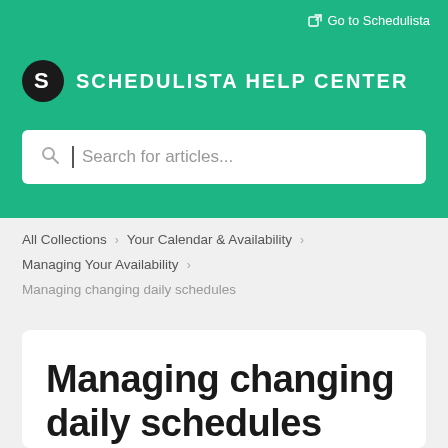Go to Schedulista
SCHEDULISTA HELP CENTER
Search for articles...
All Collections > Your Calendar & Availability > Managing Your Availability >
Managing changing daily schedules
Managing changing daily schedules